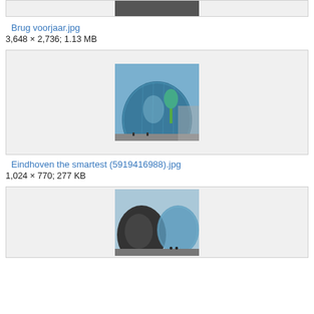[Figure (photo): Top portion of a road/path image, partially visible at top of page]
Brug voorjaar.jpg
3,648 × 2,736; 1.13 MB
[Figure (photo): Photo of a modern glass dome building (The Blob) in Eindhoven with trees and people in front]
Eindhoven the smartest (5919416988).jpg
1,024 × 770; 277 KB
[Figure (photo): Photo of a large dark metallic sculpture with the glass Blob building visible in the background]